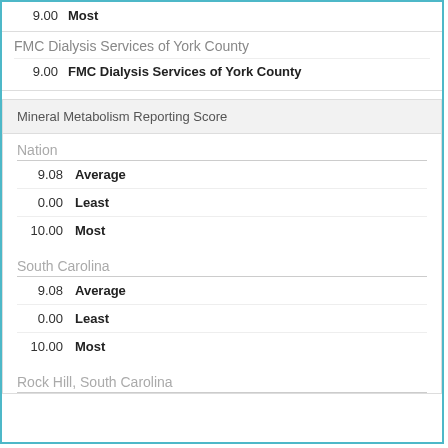9.00  Most
FMC Dialysis Services of York County
| Value | Label |
| --- | --- |
| 9.00 | FMC Dialysis Services of York County |
|  | Mineral Metabolism Reporting Score |
| --- | --- |
Nation
| Value | Label |
| --- | --- |
| 9.08 | Average |
| 0.00 | Least |
| 10.00 | Most |
South Carolina
| Value | Label |
| --- | --- |
| 9.08 | Average |
| 0.00 | Least |
| 10.00 | Most |
Rock Hill, South Carolina